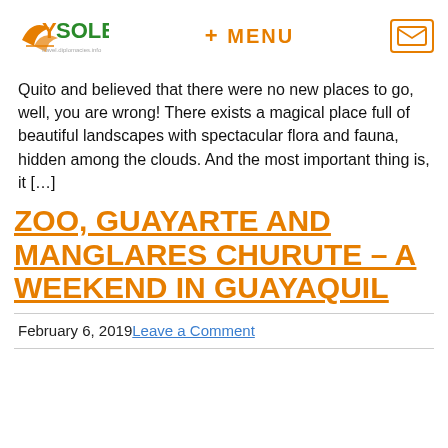YSOLEQ travel.diplomacies.info — + MENU — [envelope icon]
Quito and believed that there were no new places to go, well, you are wrong! There exists a magical place full of beautiful landscapes with spectacular flora and fauna, hidden among the clouds. And the most important thing is, it […]
ZOO, GUAYARTE AND MANGLARES CHURUTE – A WEEKEND IN GUAYAQUIL
February 6, 2019 Leave a Comment